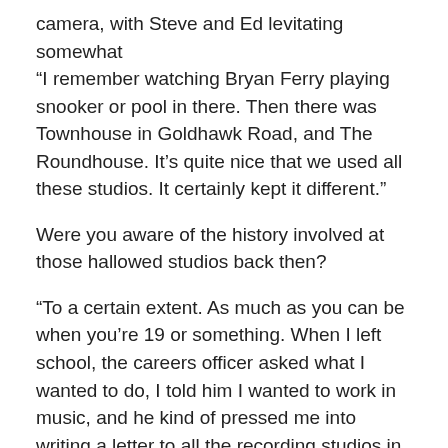camera, with Steve and Ed levitating somewhat “I remember watching Bryan Ferry playing snooker or pool in there. Then there was Townhouse in Goldhawk Road, and The Roundhouse. It’s quite nice that we used all these studios. It certainly kept it different.”
Were you aware of the history involved at those hallowed studios back then?
“To a certain extent. As much as you can be when you’re 19 or something. When I left school, the careers officer asked what I wanted to do, I told him I wanted to work in music, and he kind of pressed me into writing a letter to all the recording studios in London. This was in the days when people would bother to write and reply, places like Wessex Studios, saying, ‘I’m really sorry we haven’t got any vacancies at the moment, but we’ll keep your letter on